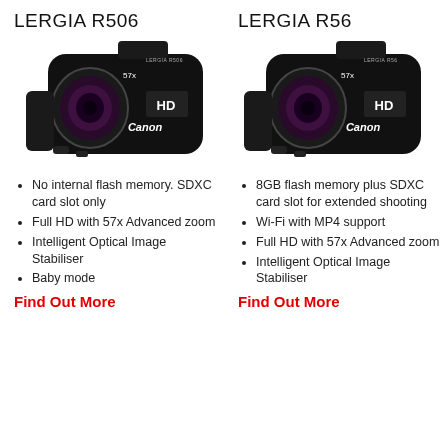LERGIA R506
LERGIA R56
[Figure (photo): Canon LERGIA R506 black camcorder with 57x zoom lens and HD label]
[Figure (photo): Canon LERGIA R56 black camcorder with 57x zoom lens and HD label]
No internal flash memory. SDXC card slot only
Full HD with 57x Advanced zoom
Intelligent Optical Image Stabiliser
Baby mode
Find Out More
8GB flash memory plus SDXC card slot for extended shooting
Wi-Fi with MP4 support
Full HD with 57x Advanced zoom
Intelligent Optical Image Stabiliser
Find Out More